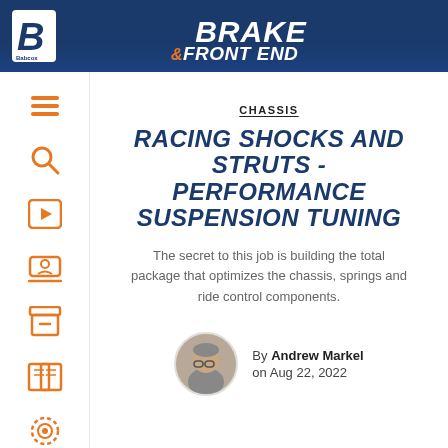BRAKE & FRONT END
CHASSIS
RACING SHOCKS AND STRUTS - PERFORMANCE SUSPENSION TUNING
The secret to this job is building the total package that optimizes the chassis, springs and ride control components.
By Andrew Markel on Aug 22, 2022